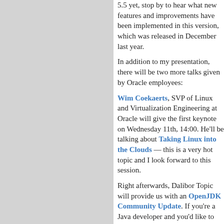5.5 yet, stop by to hear what new features and improvements have been implemented in this version, which was released in December last year.
In addition to my presentation, there will be two more talks given by Oracle employees:
Wim Coekaerts, SVP of Linux and Virtualization Engineering at Oracle will give the first keynote on Wednesday 11th, 14:00. He'll be talking about Taking Linux into the Clouds — this is a very hot topic and I look forward to this session.
Right afterwards, Dalibor Topic will provide us with an OpenJDK Community Update. If you're a Java developer and you'd like to get the scoop of what's coming, this presentation is one you should not miss!
See you in Berlin!
POSTED BY LENZ GRIMMER IN LINUX, MYSQL, OSS AT 10:35 | COMMENTS (0) | TRACKBACK (0)
DEFINED TAGS FOR THIS ENTRY: CONFERENCE, EVENT, JAVA, LINUX, LINUXTAG, MYSQL, OPENSOURCE, OSS, PRESENTATION